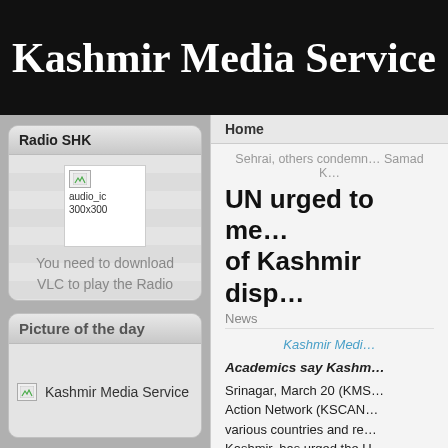Kashmir Media Service
Radio SHK
[Figure (screenshot): Broken audio icon placeholder image labeled audio_ic 300x300]
You need to download VLC to play the Radio
Picture of the day
[Figure (photo): Broken image placeholder labeled Kashmir Media Service]
Home
Sehrai, others condemn… Samad K…
UN urged to me… of Kashmir disp…
News
Kashmir Medi…
Academics say Kashm…
Srinagar, March 20 (KMS… Action Network (KSCAN… various countries and re… Kashmir, has urged the U… mediate a peaceful settle…